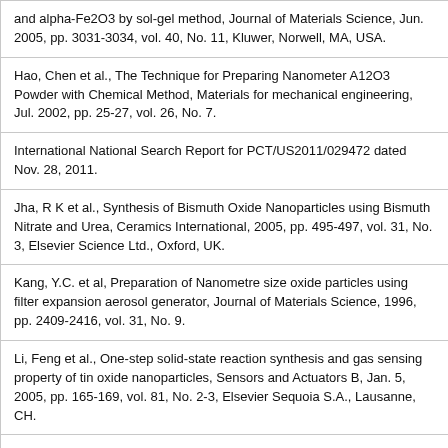and alpha-Fe2O3 by sol-gel method, Journal of Materials Science, Jun. 2005, pp. 3031-3034, vol. 40, No. 11, Kluwer, Norwell, MA, USA.
Hao, Chen et al., The Technique for Preparing Nanometer A12O3 Powder with Chemical Method, Materials for mechanical engineering, Jul. 2002, pp. 25-27, vol. 26, No. 7.
International National Search Report for PCT/US2011/029472 dated Nov. 28, 2011.
Jha, R K et al., Synthesis of Bismuth Oxide Nanoparticles using Bismuth Nitrate and Urea, Ceramics International, 2005, pp. 495-497, vol. 31, No. 3, Elsevier Science Ltd., Oxford, UK.
Kang, Y.C. et al, Preparation of Nanometre size oxide particles using filter expansion aerosol generator, Journal of Materials Science, 1996, pp. 2409-2416, vol. 31, No. 9.
Li, Feng et al., One-step solid-state reaction synthesis and gas sensing property of tin oxide nanoparticles, Sensors and Actuators B, Jan. 5, 2005, pp. 165-169, vol. 81, No. 2-3, Elsevier Sequoia S.A., Lausanne, CH.
Li, Jiang et al., Effects of alpha-A12O3 Seeds on the Phase Transformation and Microstructure of Alumina, Journal of Inorganic Materials, Nov. 2004, pp. 1293-1297, vol. 19, No. 6. (English Abstract).